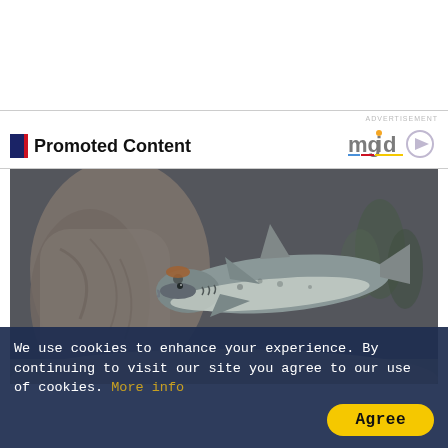ADVERTISEMENT
Promoted Content
[Figure (logo): mgid logo with play button icon]
[Figure (photo): A toy hammerhead shark figurine suspended in front of a diorama scene with driftwood, sand, and small plants in the background]
We use cookies to enhance your experience. By continuing to visit our site you agree to our use of cookies. More info
Agree